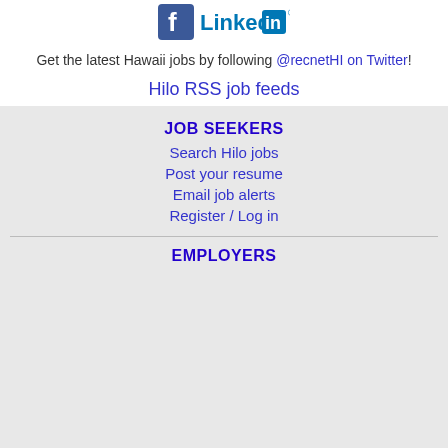[Figure (logo): Facebook and LinkedIn social media icons at top of page]
Get the latest Hawaii jobs by following @recnetHI on Twitter!
Hilo RSS job feeds
JOB SEEKERS
Search Hilo jobs
Post your resume
Email job alerts
Register / Log in
EMPLOYERS